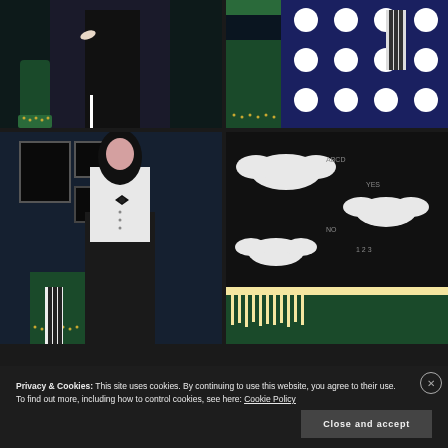[Figure (photo): Woman in black outfit with striped tights on a green velvet chair, dark background with gothic decor]
[Figure (photo): Close-up of a black and white polka dot skirt with striped tights and a green velvet chair, gothic accessories visible]
[Figure (photo): Woman in white blouse with bow tie and black skirt, standing near green velvet chair with gothic decor on walls]
[Figure (photo): Close-up of black and white bat-patterned fabric with ouija board text and fringe hem detail on green velvet chair]
Privacy & Cookies: This site uses cookies. By continuing to use this website, you agree to their use.
To find out more, including how to control cookies, see here: Cookie Policy
Close and accept